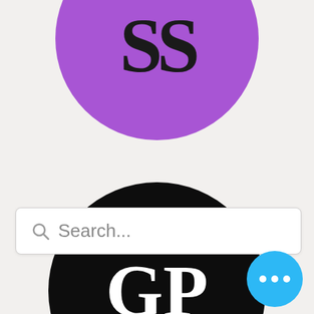[Figure (logo): Purple circle with 'SS' text in dark serif font, partially cropped at top of page]
[Figure (screenshot): Search bar with magnifying glass icon and 'Search...' placeholder text]
[Figure (logo): Black circle with 'GP' text in white bold serif font]
[Figure (other): Blue circular button with three white dots (ellipsis) in bottom right corner]